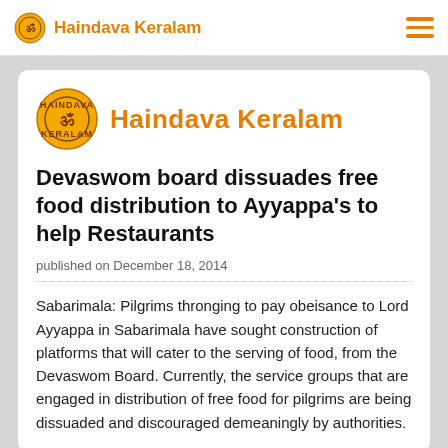Haindava Keralam
[Figure (logo): Haindava Keralam circular logo with Om symbol, orange and black text reading Haindava Keralam]
Devaswom board dissuades free food distribution to Ayyappa’s to help Restaurants
published on December 18, 2014
Sabarimala: Pilgrims thronging to pay obeisance to Lord Ayyappa in Sabarimala have sought construction of platforms that will cater to the serving of food, from the Devaswom Board. Currently, the service groups that are engaged in distribution of free food for pilgrims are being dissuaded and discouraged demeaningly by authorities.